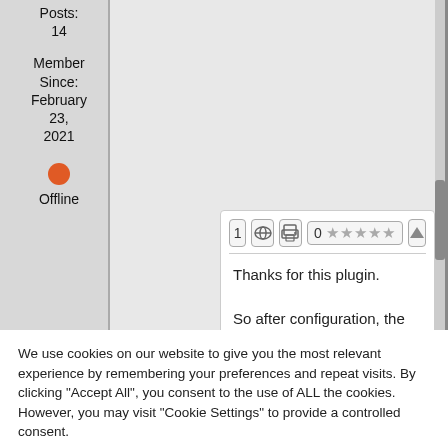Posts: 14
Member Since: February 23, 2021
Offline
[Figure (screenshot): Post toolbar with post number 1, link icon, print icon, rating showing 0 stars (out of 5), and upvote arrow button]
Thanks for this plugin.

So after configuration, the plugin pull
We use cookies on our website to give you the most relevant experience by remembering your preferences and repeat visits. By clicking "Accept All", you consent to the use of ALL the cookies. However, you may visit "Cookie Settings" to provide a controlled consent.
Cookie Settings
Accept All